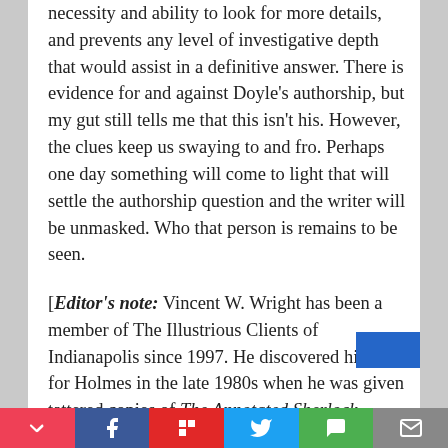necessity and ability to look for more details, and prevents any level of investigative depth that would assist in a definitive answer. There is evidence for and against Doyle's authorship, but my gut still tells me that this isn't his. However, the clues keep us swaying to and fro. Perhaps one day something will come to light that will settle the authorship question and the writer will be unmasked. Who that person is remains to be seen.
[Editor's note: Vincent W. Wright has been a member of The Illustrious Clients of Indianapolis since 1997. He discovered his love for Holmes in the late 1980s when he was given tattered copies of The Annotated Sherlock Holmes. It was in those pages he